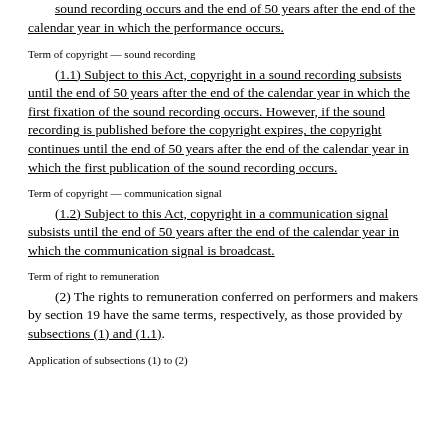sound recording occurs and the end of 50 years after the end of the calendar year in which the performance occurs.
Term of copyright — sound recording
(1.1) Subject to this Act, copyright in a sound recording subsists until the end of 50 years after the end of the calendar year in which the first fixation of the sound recording occurs. However, if the sound recording is published before the copyright expires, the copyright continues until the end of 50 years after the end of the calendar year in which the first publication of the sound recording occurs.
Term of copyright — communication signal
(1.2) Subject to this Act, copyright in a communication signal subsists until the end of 50 years after the end of the calendar year in which the communication signal is broadcast.
Term of right to remuneration
(2) The rights to remuneration conferred on performers and makers by section 19 have the same terms, respectively, as those provided by subsections (1) and (1.1).
Application of subsections (1) to (2)